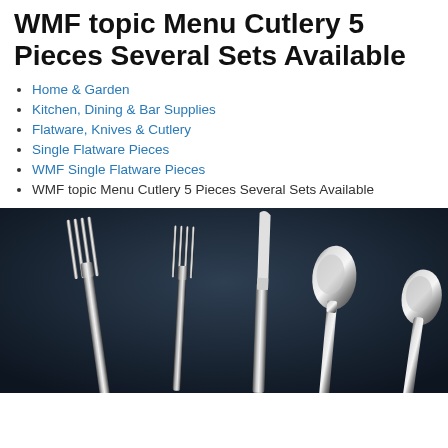WMF topic Menu Cutlery 5 Pieces Several Sets Available
Home & Garden
Kitchen, Dining & Bar Supplies
Flatware, Knives & Cutlery
Single Flatware Pieces
WMF Single Flatware Pieces
WMF topic Menu Cutlery 5 Pieces Several Sets Available
[Figure (photo): Dark background product photo showing WMF menu cutlery set with fork, smaller fork, knife, spoon, and partial spoon arranged against a dark blue-grey gradient background]